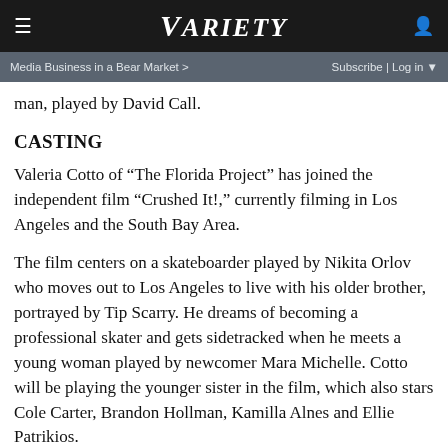VARIETY (logo navigation bar)
Media Business in a Bear Market >   Subscribe | Log in
man, played by David Call.
CASTING
Valeria Cotto of “The Florida Project” has joined the independent film “Crushed It!,” currently filming in Los Angeles and the South Bay Area.
The film centers on a skateboarder played by Nikita Orlov who moves out to Los Angeles to live with his older brother, portrayed by Tip Scarry. He dreams of becoming a professional skater and gets sidetracked when he meets a young woman played by newcomer Mara Michelle. Cotto will be playing the younger sister in the film, which also stars Cole Carter, Brandon Hollman, Kamilla Alnes and Ellie Patrikios.
Alexander Garcia is directing from his own screenplay and